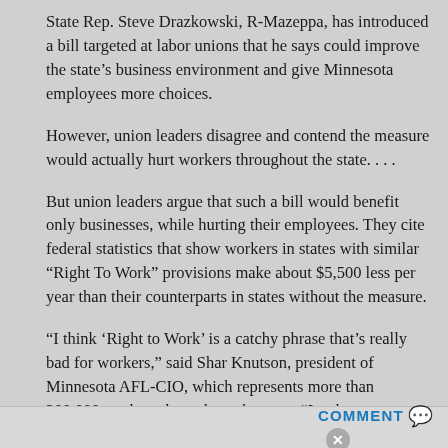State Rep. Steve Drazkowski, R-Mazeppa, has introduced a bill targeted at labor unions that he says could improve the state’s business environment and give Minnesota employees more choices.
However, union leaders disagree and contend the measure would actually hurt workers throughout the state. . . .
But union leaders argue that such a bill would benefit only businesses, while hurting their employees. They cite federal statistics that show workers in states with similar “Right To Work” provisions make about $5,500 less per year than their counterparts in states without the measure.
“I think ‘Right to Work’ is a catchy phrase that’s really bad for workers,” said Shar Knutson, president of Minnesota AFL-CIO, which represents more than 300,000 workers throughout the state. “It asks Minnesotans to work for less
COMMENT